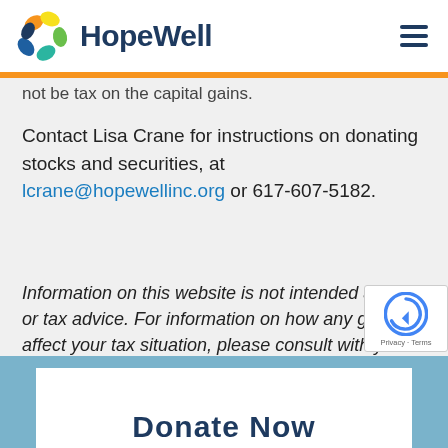HopeWell
not be tax on the capital gains.
Contact Lisa Crane for instructions on donating stocks and securities, at lcrane@hopewellinc.org or 617-607-5182.
Information on this website is not intended as legal or tax advice. For information on how any gift may affect your tax situation, please consult with your own professional advisor.
Donate Now